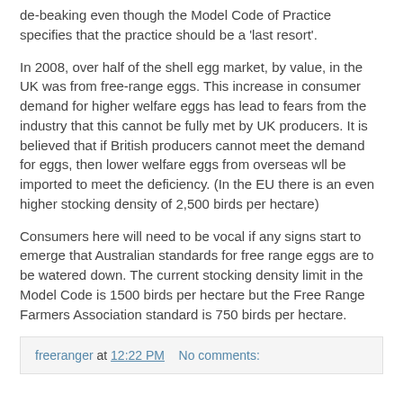de-beaking even though the Model Code of Practice specifies that the practice should be a 'last resort'.
In 2008, over half of the shell egg market, by value, in the UK was from free-range eggs. This increase in consumer demand for higher welfare eggs has lead to fears from the industry that this cannot be fully met by UK producers. It is believed that if British producers cannot meet the demand for eggs, then lower welfare eggs from overseas wll be imported to meet the deficiency. (In the EU there is an even higher stocking density of 2,500 birds per hectare)
Consumers here will need to be vocal if any signs start to emerge that Australian standards for free range eggs are to be watered down. The current stocking density limit in the Model Code is 1500 birds per hectare but the Free Range Farmers Association standard is 750 birds per hectare.
freeranger at 12:22 PM   No comments: